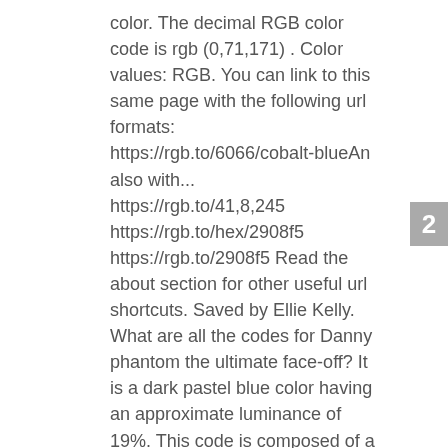color. The decimal RGB color code is rgb (0,71,171) . Color values: RGB. You can link to this same page with the following url formats: https://rgb.to/6066/cobalt-blueAn also with... https://rgb.to/41,8,245 https://rgb.to/hex/2908f5 https://rgb.to/2908f5 Read the about section for other useful url shortcuts. Saved by Ellie Kelly. What are all the codes for Danny phantom the ultimate face-off? It is a dark pastel blue color having an approximate luminance of 19%. This code is composed of a hexadecimal 00 red (0/256), a 47 green (71/256) and a AB blue component (171/256). Please note that RGB & Hex/HTML values will differ between the PANTONE Color Finder and the PANTONE Color Bridge Guides due to different standards for print and digital use. You shall always consult and double-check colors with a professional paint provider before you order. Find here all the information about the RAL 5013 colour Cobalt blue. https://spektran.com/ral/5013-cobalt-blue. Use code, Check out the Pantone Color Systems page to find out
2